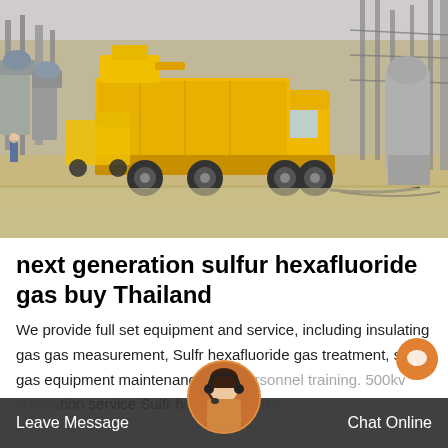[Figure (photo): Yellow Isuzu utility truck at an electrical substation with power line equipment, transformers, and metal structures visible. Sandy/dirt ground, overcast sky.]
next generation sulfur hexafluoride gas buy Thailand
We provide full set equipment and service, including insulating gas gas measurement, Sulfr hexafluoride gas treatment, sf 6 gas equipment maintenance and personnel training. 500kv substation service Sulfr hexafluoride recovery